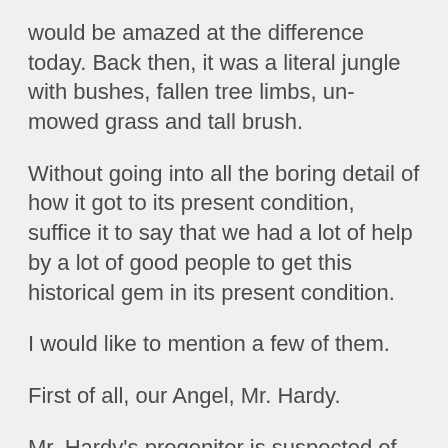would be amazed at the difference today. Back then, it was a literal jungle with bushes, fallen tree limbs, un-mowed grass and tall brush.
Without going into all the boring detail of how it got to its present condition, suffice it to say that we had a lot of help by a lot of good people to get this historical gem in its present condition.
I would like to mention a few of them.
First of all, our Angel, Mr. Hardy.
Mr. Hardy's progenitor is suspected of being buried here at OBBG and he decided that it would be a good thing to help clean OBBG